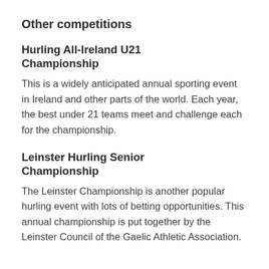Other competitions
Hurling All-Ireland U21 Championship
This is a widely anticipated annual sporting event in Ireland and other parts of the world. Each year, the best under 21 teams meet and challenge each for the championship.
Leinster Hurling Senior Championship
The Leinster Championship is another popular hurling event with lots of betting opportunities. This annual championship is put together by the Leinster Council of the Gaelic Athletic Association.